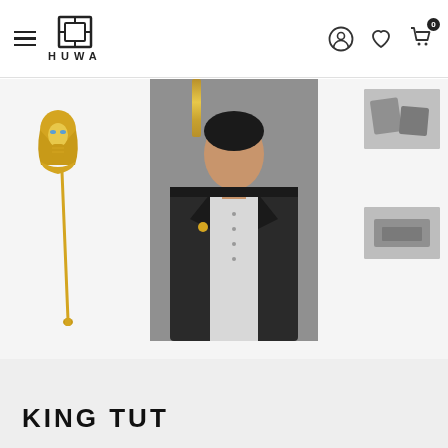HUWA - navigation header with menu, logo, user account, wishlist, and cart icons
[Figure (photo): E-commerce product page for HUWA brand showing three views: left - a gold Egyptian pharaoh lapel pin on a long gold stick pin against white background; center - a man wearing a dark suit jacket with white shirt, the pin visible on his lapel; right - two small grey gift box thumbnails]
KING TUT